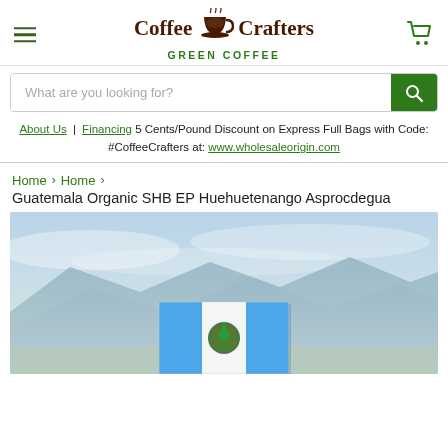Coffee Crafters GREEN COFFEE
What are you looking for?
About Us | Financing 5 Cents/Pound Discount on Express Full Bags with Code: #CoffeeCrafters at: www.wholesaleorigin.com
Home > Home > Guatemala Organic SHB EP Huehuetenango Asprocdegua
Guatemala Organic SHB EP Huehuetenango Asprocdegua
[Figure (photo): Mountain landscape with misty blue mountains and sky, with a Guatemalan flag (blue and white vertical stripes with coat of arms) overlaid in the foreground.]